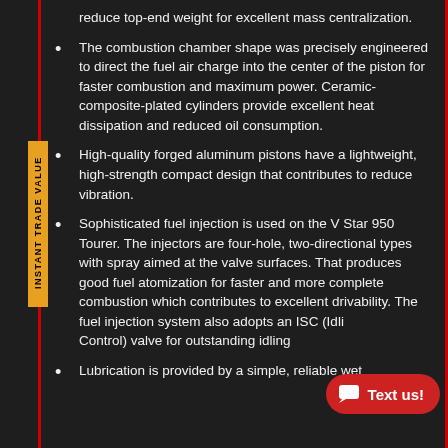reduce top-end weight for excellent mass centralization.
The combustion chamber shape was precisely engineered to direct the fuel air charge into the center of the piston for faster combustion and maximum power. Ceramic-composite-plated cylinders provide excellent heat dissipation and reduced oil consumption.
High-quality forged aluminum pistons have a lightweight, high-strength compact design that contributes to reduce vibration.
Sophisticated fuel injection is used on the V Star 950 Tourer. The injectors are four-hole, two-directional types with spray aimed at the valve surfaces. That produces good fuel atomization for faster and more complete combustion which contributes to excellent drivability. The fuel injection system also adopts an ISC (Idli... Control) valve for outstanding idling
Lubrication is provided by a simple, reliable wet ...